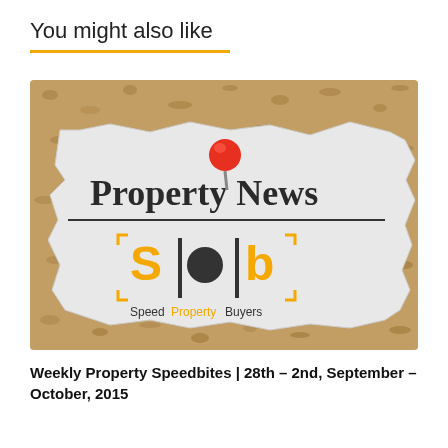You might also like
[Figure (photo): A torn paper clipping pinned to a cork board with a red pushpin. The clipping shows 'Property News' in bold serif text above a horizontal line, and below the line is the Speed Property Buyers logo featuring stylized yellow and black letter forms with the text 'Speed Property Buyers'.]
Weekly Property Speedbites | 28th – 2nd, September – October, 2015